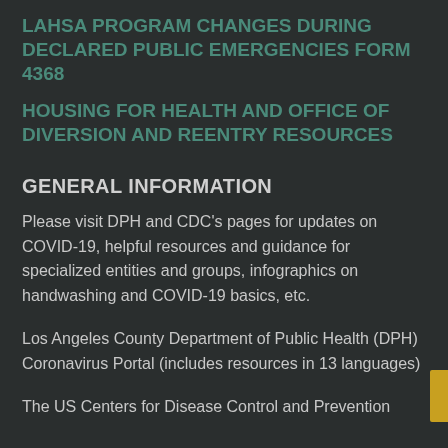LAHSA PROGRAM CHANGES DURING DECLARED PUBLIC EMERGENCIES FORM 4368
HOUSING FOR HEALTH AND OFFICE OF DIVERSION AND REENTRY RESOURCES
GENERAL INFORMATION
Please visit DPH and CDC's pages for updates on COVID-19, helpful resources and guidance for specialized entities and groups, infographics on handwashing and COVID-19 basics, etc.
Los Angeles County Department of Public Health (DPH) Coronavirus Portal (includes resources in 13 languages)
The US Centers for Disease Control and Prevention